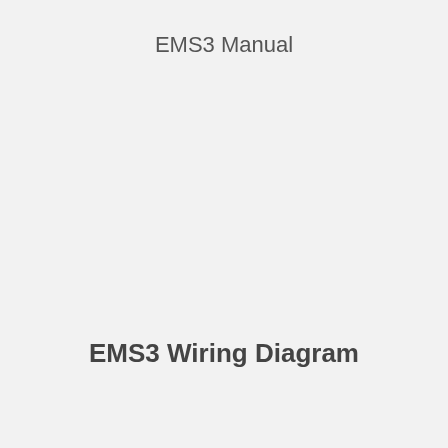EMS3 Manual
EMS3 Wiring Diagram